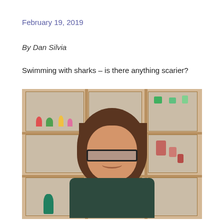February 19, 2019
By Dan Silvia
Swimming with sharks – is there anything scarier?
[Figure (photo): A young woman with glasses and long brown hair smiling at the camera, standing in front of wooden display cabinets with glass panels containing various colorful items.]